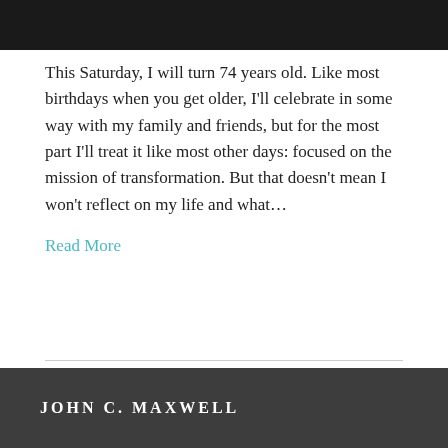[Figure (photo): Dark photo image cropped at top of page]
This Saturday, I will turn 74 years old. Like most birthdays when you get older, I'll celebrate in some way with my family and friends, but for the most part I'll treat it like most other days: focused on the mission of transformation. But that doesn't mean I won't reflect on my life and what…
Read More
Older Posts »
JOHN C. MAXWELL